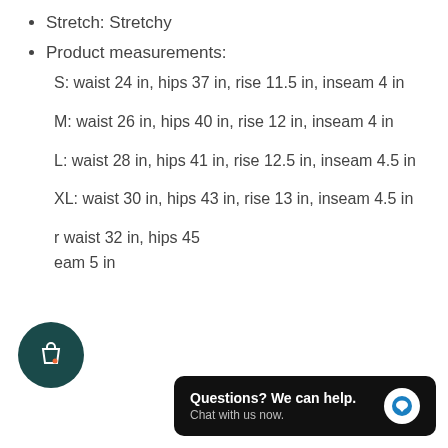Stretch: Stretchy
Product measurements:
S: waist 24 in, hips 37 in, rise 11.5 in, inseam 4 in
M: waist 26 in, hips 40 in, rise 12 in, inseam 4 in
L: waist 28 in, hips 41 in, rise 12.5 in, inseam 4.5 in
XL: waist 30 in, hips 43 in, rise 13 in, inseam 4.5 in
r waist 32 in, hips 45... eam 5 in (partially obscured)